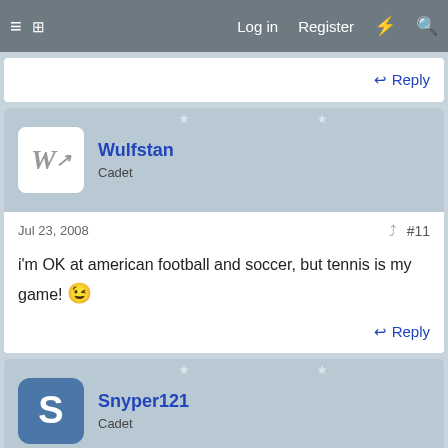Log in  Register
Reply
Wulfstan
Cadet
Jul 23, 2008  #11
i'm OK at american football and soccer, but tennis is my game! 😉
Reply
Snyper121
Cadet
Jul 23, 2008  #12
Golf FTW!